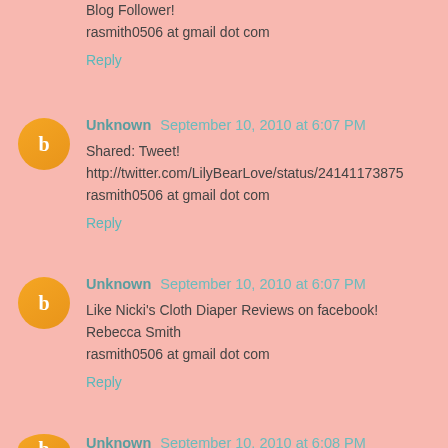Blog Follower!
rasmith0506 at gmail dot com
Reply
Unknown September 10, 2010 at 6:07 PM
Shared: Tweet!
http://twitter.com/LilyBearLove/status/24141173875
rasmith0506 at gmail dot com
Reply
Unknown September 10, 2010 at 6:07 PM
Like Nicki's Cloth Diaper Reviews on facebook!
Rebecca Smith
rasmith0506 at gmail dot com
Reply
Unknown September 10, 2010 at 6:08 PM